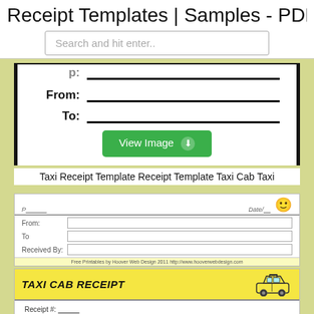Receipt Templates | Samples - PDF
Search and hit enter..
[Figure (screenshot): Partial taxi receipt form showing From: and To: fields with underlines, bordered card with black side bars]
View Image
Taxi Receipt Template Receipt Template Taxi Cab Taxi
[Figure (screenshot): Thumbnail of a taxi receipt form with From, To, Received By fields and a smiley face emoji, yellow footer bar with fine print]
[Figure (screenshot): Thumbnail of Taxi Cab Receipt with yellow header, taxi car illustration, Receipt # and Date fields]